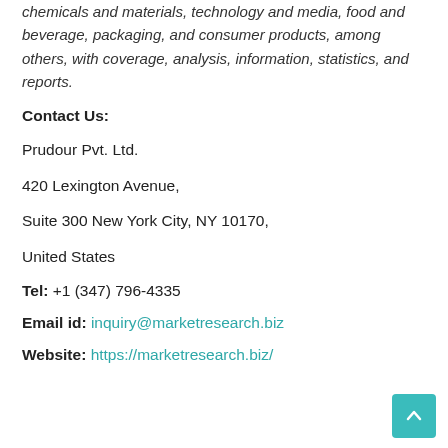chemicals and materials, technology and media, food and beverage, packaging, and consumer products, among others, with coverage, analysis, information, statistics, and reports.
Contact Us:
Prudour Pvt. Ltd.
420 Lexington Avenue,
Suite 300 New York City, NY 10170,
United States
Tel: +1 (347) 796-4335
Email id: inquiry@marketresearch.biz
Website: https://marketresearch.biz/